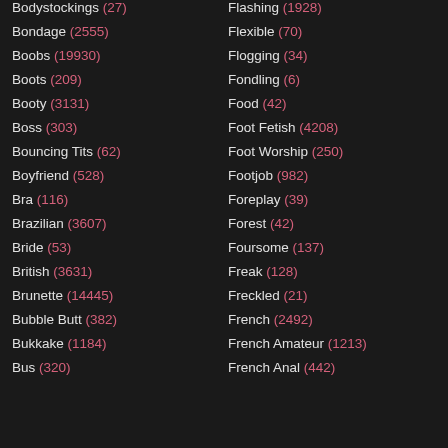Bodystockings (27)
Bondage (2555)
Boobs (19930)
Boots (209)
Booty (3131)
Boss (303)
Bouncing Tits (62)
Boyfriend (528)
Bra (116)
Brazilian (3607)
Bride (53)
British (3631)
Brunette (14445)
Bubble Butt (382)
Bukkake (1184)
Bus (320)
Flashing (1928)
Flexible (70)
Flogging (34)
Fondling (6)
Food (42)
Foot Fetish (4208)
Foot Worship (250)
Footjob (982)
Foreplay (39)
Forest (42)
Foursome (137)
Freak (128)
Freckled (21)
French (2492)
French Amateur (1213)
French Anal (442)